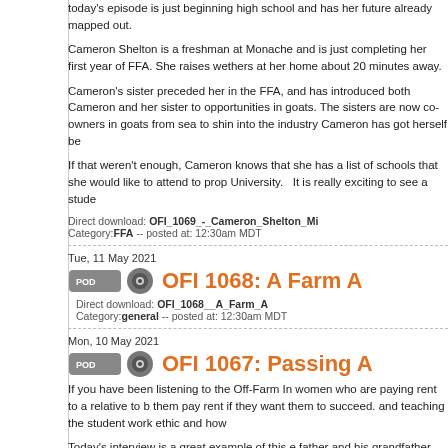today's episode is just beginning high school and has her future already mapped out.
Cameron Shelton is a freshman at Monache and is just completing her first year of FFA. She raises wethers at her home about 20 minutes away.
Cameron's sister preceded her in the FFA, and has introduced both Cameron and her sister to opportunities in goats. The sisters are now co-owners in goats from sea to shine. Well established into the industry Cameron has got herself be
If that weren't enough, Cameron knows that she has a list of schools that she would like to attend to prop herself up. Cal Poly University. It is really exciting to see a stude
Direct download: OFI_1069_-_Cameron_Shelton_Mi
Category:FFA -- posted at: 12:30am MDT
Tue, 11 May 2021
OFI 1068: A Farm A
Direct download: OFI_1068__A_Farm_A
Category:general -- posted at: 12:30am MDT
Mon, 10 May 2021
OFI 1067: Passing A
If you have been listening to the Off-Farm In women who are paying rent to a relative to b them pay rent if they want them to succeed. and teaching the student work ethic and how
Today's interview is a great example of this e father and his grandfather have always mad graduated from high school but he is already